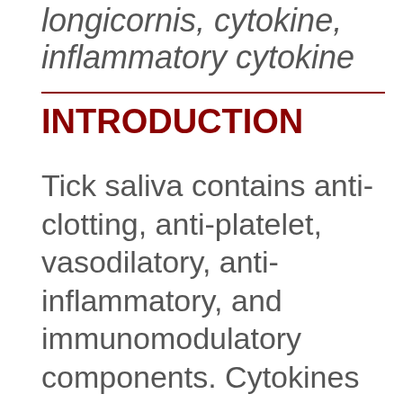longicornis, cytokine, inflammatory cytokine
INTRODUCTION
Tick saliva contains anti-clotting, anti-platelet, vasodilatory, anti-inflammatory, and immunomodulatory components. Cytokines play a very important role in regulating these processes. Tick resistance or